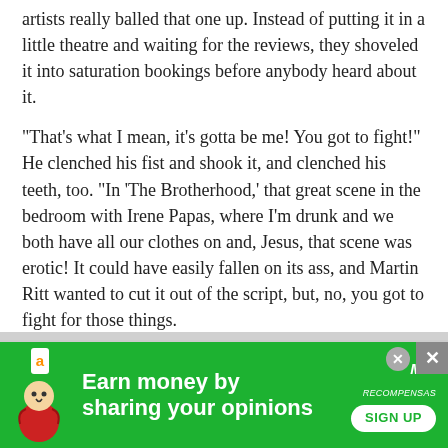artists really balled that one up. Instead of putting it in a little theatre and waiting for the reviews, they shoveled it into saturation bookings before anybody heard about it.
"That's what I mean, it's gotta be me! You got to fight!" He clenched his fist and shook it, and clenched his teeth, too. "In 'The Brotherhood,' that great scene in the bedroom with Irene Papas, where I'm drunk and we both have all our clothes on and, Jesus, that scene was erotic! It could have easily fallen on its ass, and Martin Ritt wanted to cut it out of the script, but, no, you got to fight for those things.
"But then you make the money on the others. I was offered a million and a half to star in 'The Fall of the Roman Empire.' And you know something? Now that I look back, I was a fool not to take it."
Douglas wasn't hungry. Too wound up. He dabbed at his soup with a roll and finally stood up and paced back and forth,
[Figure (other): Advertisement banner: green background with Amazon logo, bird mascot, text 'Earn money by sharing your opinions', MiT Recompensas logo, and SIGN UP button. Close buttons in top-right corner.]